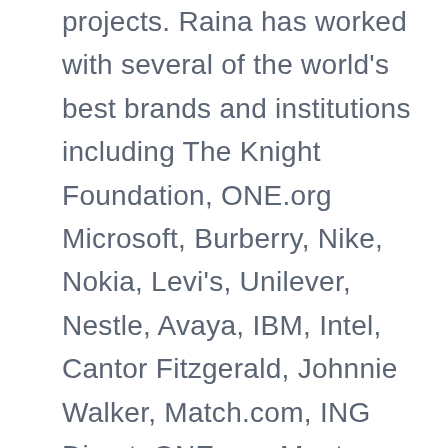projects. Raina has worked with several of the world's best brands and institutions including The Knight Foundation, ONE.org Microsoft, Burberry, Nike, Nokia, Levi's, Unilever, Nestle, Avaya, IBM, Intel, Cantor Fitzgerald, Johnnie Walker, Match.com, ING Direct, ONE.org, Mentos, JWT, ABC Family, Disney, EA, ESPN, & Brand Jordan. She was once featured on the cover of Fast Company for possessing adaptability in her career and previously served as Co-Director of Innovation at the BBG, the world's largest international media organization under the Obama Administration and served at the U.S. Department of State. Prior to that Raina led the conversion of Wieden+Kennedy New York to a fully social-first agency and has been...